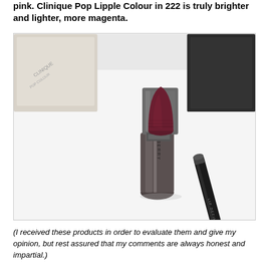pink. Clinique Pop Lipple Colour in 222 is truly brighter and lighter, more magenta.
[Figure (photo): Close-up photo of a Burberry dark red/burgundy lipstick with a square gunmetal cap, alongside a lip definer pencil and what appears to be a white compact or palette, all on a white surface.]
(I received these products in order to evaluate them and give my opinion, but rest assured that my comments are always honest and impartial.)